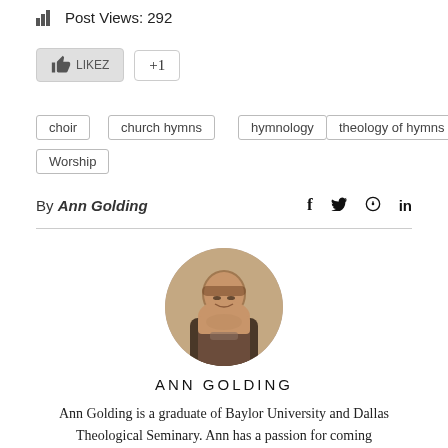Post Views: 292
[Figure (other): Like button with thumbs up icon and +1 button]
choir
church hymns
hymnology
theology of hymns
Worship
By Ann Golding
[Figure (photo): Profile photo of Ann Golding - a woman with short hair and glasses smiling, shown in a circular crop]
ANN GOLDING
Ann Golding is a graduate of Baylor University and Dallas Theological Seminary. Ann has a passion for coming